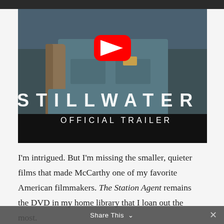[Figure (screenshot): YouTube video thumbnail for STILLWATER OFFICIAL TRAILER showing a man in a denim shirt with a backpack, crowd in background, red YouTube play button in center, title 'STILLWATER' in large white spaced letters, subtitle 'OFFICIAL TRAILER' below]
I'm intrigued. But I'm missing the smaller, quieter films that made McCarthy one of my favorite American filmmakers. The Station Agent remains the DVD in my home library that I loan out the most.
Share This ∨  ×